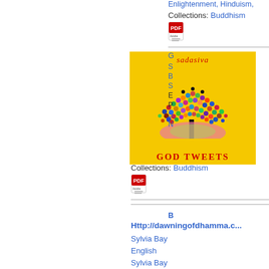Enlightenment, Hinduism,
Collections: Buddhism
[Figure (illustration): Book cover for 'God Tweets' by sadasiva showing a colorful tree made of dots on a yellow background]
Collections: Buddhism
Http://dawningofdhamma.c...
Sylvia Bay
English
Sylvia Bay